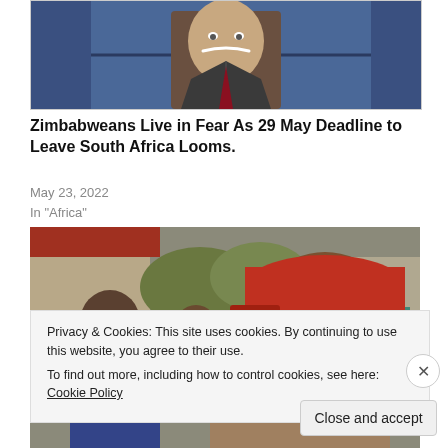[Figure (photo): Partial view of a video screenshot showing a man in a suit with a drawn-on white mustache, against a blue/dark background with window-like shapes]
Zimbabweans Live in Fear As 29 May Deadline to Leave South Africa Looms.
May 23, 2022
In "Africa"
[Figure (photo): Outdoor crowd scene showing a man in a red cap prominently in foreground, others around him including a person wearing a black face mask, and a person in a teal shirt in the background]
Privacy & Cookies: This site uses cookies. By continuing to use this website, you agree to their use.
To find out more, including how to control cookies, see here: Cookie Policy
Close and accept